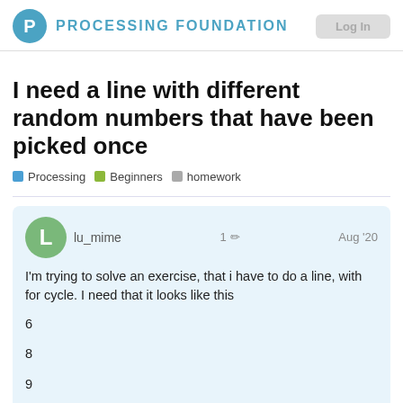PROCESSING FOUNDATION
I need a line with different random numbers that have been picked once
Processing   Beginners   homework
lu_mime   1   Aug '20
I'm trying to solve an exercise, that i have to do a line, with for cycle. I need that it looks like this
6
8
9
3
1
but the only thing that I have is multiple nu place, multiple times. I don't know how to l
3 / 3